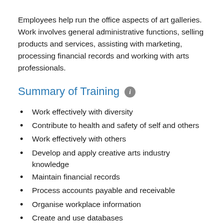Employees help run the office aspects of art galleries. Work involves general administrative functions, selling products and services, assisting with marketing, processing financial records and working with arts professionals.
Summary of Training
Work effectively with diversity
Contribute to health and safety of self and others
Work effectively with others
Develop and apply creative arts industry knowledge
Maintain financial records
Process accounts payable and receivable
Organise workplace information
Create and use databases